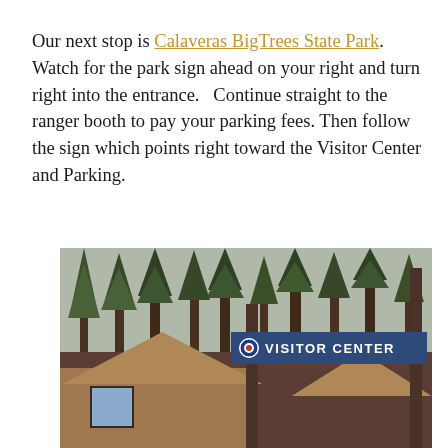Our next stop is Calaveras BigTrees State Park. Watch for the park sign ahead on your right and turn right into the entrance.   Continue straight to the ranger booth to pay your parking fees. Then follow the sign which points right toward the Visitor Center and Parking.
[Figure (photo): Photograph of Calaveras BigTrees State Park Visitor Center entrance sign mounted on wooden posts, with a cedar-shingled roof building in the foreground and tall conifer trees in the background. The sign reads 'VISITOR CENTER' in white text on a blue background.]